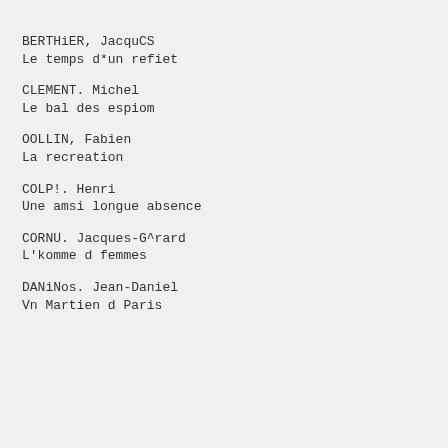BERTHiER, JacquCS
Le temps d*un refiet
CLEMENT. Michel
Le bal des espiom
OOLLIN, Fabien
La recreation
COLP!. Henri
Une amsi longue absence
CORNU. Jacques-G^rard
L'komme d femmes
DANiNos. Jean-Daniel
Vn Martien d Paris